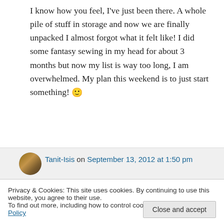I know how you feel, I've just been there. A whole pile of stuff in storage and now we are finally unpacked I almost forgot what it felt like! I did some fantasy sewing in my head for about 3 months but now my list is way too long, I am overwhelmed. My plan this weekend is to just start something! 🙂
↪ Reply
Tanit-Isis on September 13, 2012 at 1:50 pm
Privacy & Cookies: This site uses cookies. By continuing to use this website, you agree to their use.
To find out more, including how to control cookies, see here: Cookie Policy
Close and accept
↪ Reply